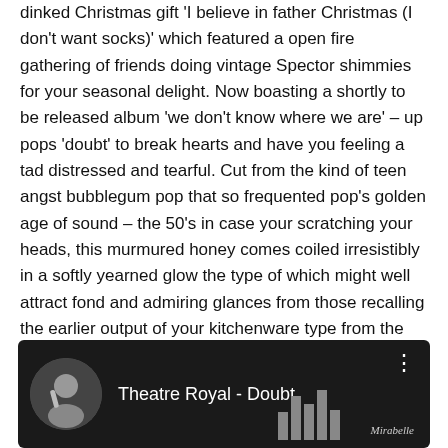dinked Christmas gift 'I believe in father Christmas (I don't want socks)' which featured a open fire gathering of friends doing vintage Spector shimmies for your seasonal delight. Now boasting a shortly to be released album 'we don't know where we are' – up pops 'doubt' to break hearts and have you feeling a tad distressed and tearful. Cut from the kind of teen angst bubblegum pop that so frequented pop's golden age of sound – the 50's in case your scratching your heads, this murmured honey comes coiled irresistibly in a softly yearned glow the type of which might well attract fond and admiring glances from those recalling the earlier output of your kitchenware type from the early 80's.
[Figure (screenshot): YouTube video thumbnail showing 'Theatre Royal - Doubt' with a circular avatar of a performer on the left, white title text in the center, and a dark background. A 'Mirabelle' sign is partially visible on the right.]